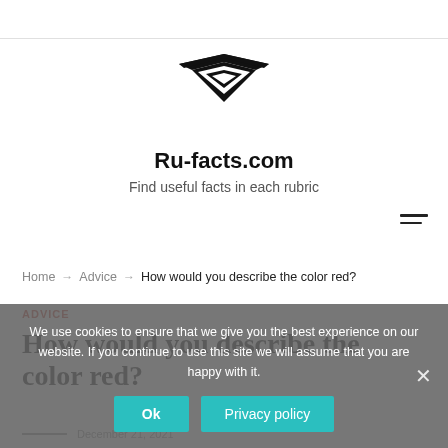[Figure (logo): Ru-facts.com stylized arrow/chevron logo in black]
Ru-facts.com
Find useful facts in each rubric
Home → Advice → How would you describe the color red?
ADVICE
How would you describe the color red?
December 21, 2021
We use cookies to ensure that we give you the best experience on our website. If you continue to use this site we will assume that you are happy with it.